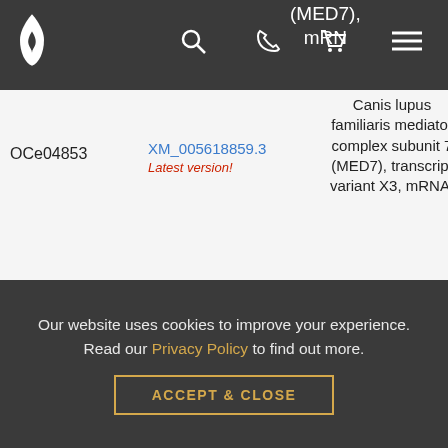(MED7), mRNA
OCe04853
XM_005618859.3 Latest version!
Canis lupus familiaris mediator complex subunit 7 (MED7), transcript variant X3, mRNA.
pcDNA3 C-(k)DYK customized vector
Canis
Our website uses cookies to improve your experience. Read our Privacy Policy to find out more.
ACCEPT & CLOSE